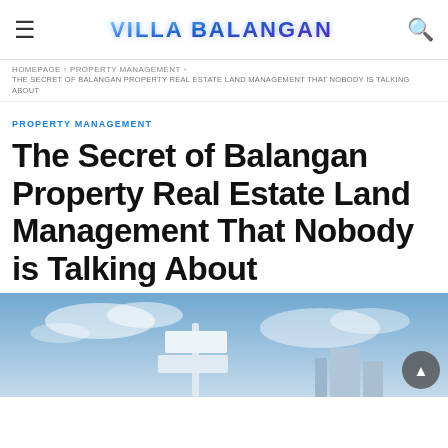Villa Balangan
HOMEPAGE › PROPERTY MANAGEMENT › THE SECRET OF BALANGAN PROPERTY REAL ESTATE LAND MANAGEMENT THAT NOBODY IS TALKING ABOUT
PROPERTY MANAGEMENT
The Secret of Balangan Property Real Estate Land Management That Nobody is Talking About
[Figure (photo): Real estate sign post against a blue cloudy sky, shown in a blue-toned image at the bottom of the page]